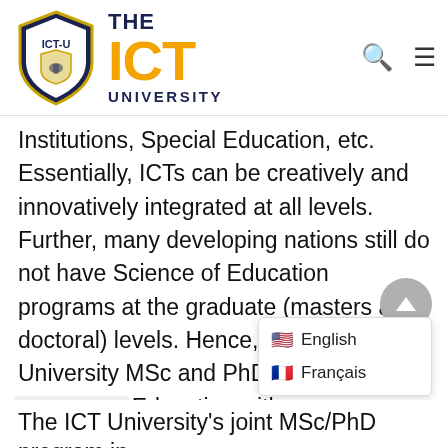[Figure (logo): ICT University shield logo with navy and gold colors, with text 'THE ICT UNIVERSITY' beside it]
Institutions, Special Education, etc. Essentially, ICTs can be creatively and innovatively integrated at all levels. Further, many developing nations still do not have Science of Education programs at the graduate (masters and doctoral) levels. Hence, the ICT University MSc and PhD program in Science of Education with concentrations in the following areas: ICT Education, Educational Leadership, Education Policy, Entrepreneurship Education, Early Childhood Education and Special Educ…
The ICT University's joint MSc/PhD program in